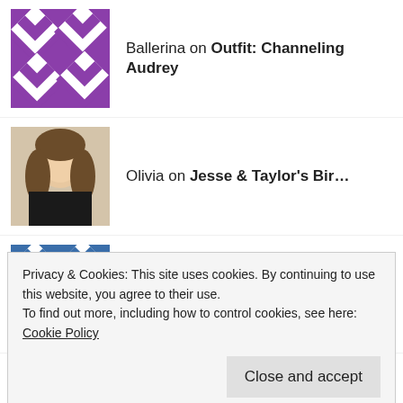Ballerina on Outfit: Channeling Audrey
Olivia on Jesse & Taylor's Bir…
Terrigirl2021 on Twins – The Third Trimes…
Mackenzie on My Winter 2021 Thrift List
Steph on Twins – The Third Trimes…
Privacy & Cookies: This site uses cookies. By continuing to use this website, you agree to their use.
To find out more, including how to control cookies, see here: Cookie Policy
Close and accept